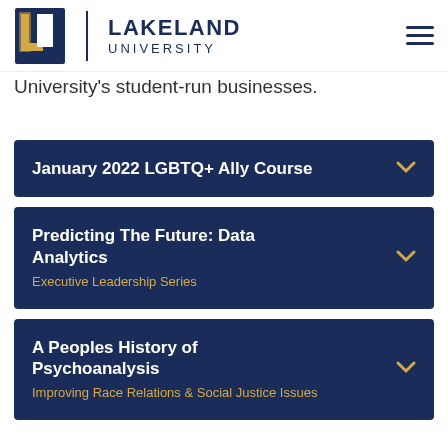Lakeland University
University's student-run businesses.
January 2022 LGBTQ+ Ally Course
Predicting The Future: Data Analytics — Executive Leadership Series
A Peoples History of Psychoanalysis — Improving Race Relations & Social Justice Issues